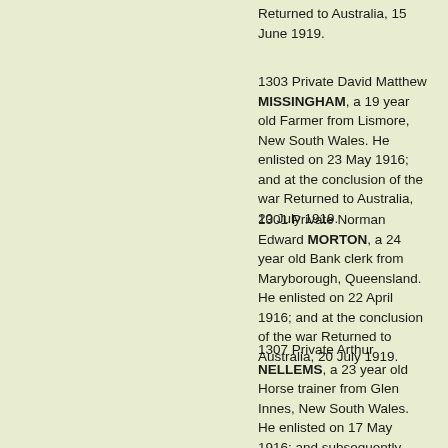Returned to Australia, 15 June 1919.
1303 Private David Matthew MISSINGHAM, a 19 year old Farmer from Lismore, New South Wales. He enlisted on 23 May 1916; and at the conclusion of the war Returned to Australia, 20 July 1919.
1301 Private Norman Edward MORTON, a 24 year old Bank clerk from Maryborough, Queensland. He enlisted on 22 April 1916; and at the conclusion of the war Returned to Australia, 20 July 1919.
1307 Private Arthur NELLEMS, a 23 year old Horse trainer from Glen Innes, New South Wales. He enlisted on 17 May 1916; and subsequently Returned to Australia, 12 November 1917.